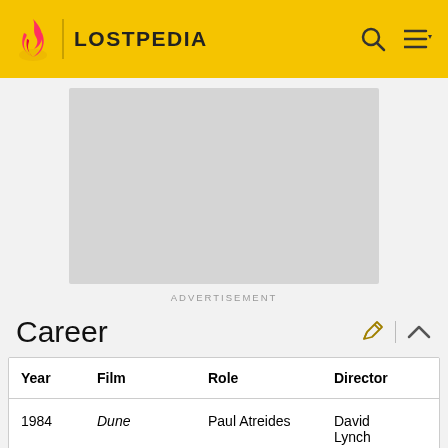LOSTPEDIA
[Figure (other): Advertisement placeholder box (gray rectangle)]
ADVERTISEMENT
Career
| Year | Film | Role | Director |
| --- | --- | --- | --- |
| 1984 | Dune | Paul Atreides | David Lynch |
| 1986 | Blue Velvet | Jeffrey... | David Lynch |